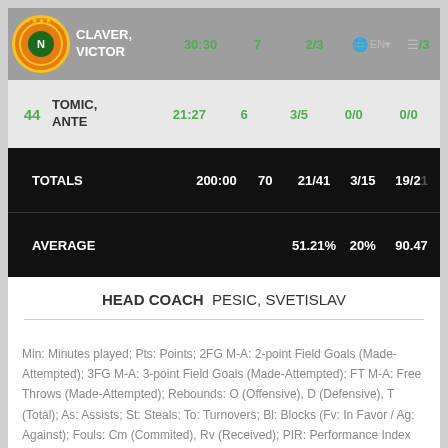| # | Player | Min | Pts | 2FG M-A | 3FG M-A | FT M-A |
| --- | --- | --- | --- | --- | --- | --- |
|  | CLAVER, VICTOR | 30:30 | 7 | 2/3 | 0/0 | 2/3 |
| 44 | TOMIC, ANTE | 21:27 | 6 | 3/5 | 0/0 | 0/0 |
|  | TOTALS | 200:00 | 70 | 21/41 | 3/15 | 19/21 |
|  | AVERAGE |  |  | 51.21% | 20% | 90.47 |
HEAD COACH   PESIC, SVETISLAV
Min: Minutes played; Pts: Points; 2FG M-A: 2-point Field Goals (Made-Attempted); 3FG M-A: 3-point Field Goals (Made-Attempted); FT M-A: Free Throws (Made-Attempted); Rebounds: O (Offensive), D (Defensive), T (Total); As: Assists; St: Steals; To: Turnovers; Bl: Blocks (Fv: In Favor / Ag: Against); Fouls: Cm (Commited), Rv (Received); PIR: Performance Index Rating